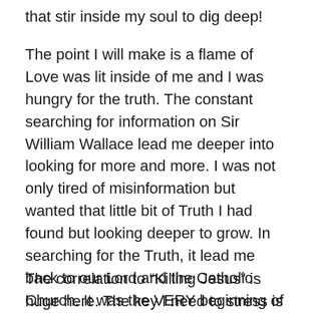that stir inside my soul to dig deep!
The point I will make is a flame of Love was lit inside of me and I was hungry for the truth. The constant searching for information on Sir William Wallace lead me deeper into looking for more and more. I was not only tired of misinformation but wanted that little bit of Truth I had found but looking deeper to grow. In searching for the Truth, it lead me back to our Lord and the Catholic Church. It was the VERY beginning of my “knocking” on the door of “Truth”, it opening, and walking through. I truly believe our Lord uses everything to lead souls back to Him. Entertainment being one of the roads. He speaks to us through everything, coaxing us back to Him.
The correlation to “Killing Jesus” is huge here. The key I need to stress is not to stop at “Killing Jesus”, but to